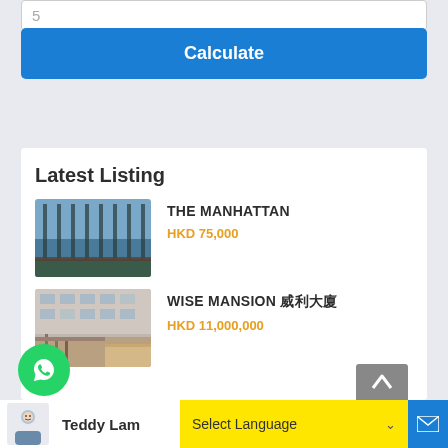5
Calculate
Latest Listing
THE MANHATTAN
HKD 75,000
[Figure (photo): Interior photo of The Manhattan property showing floor-to-ceiling windows with ocean view]
WISE MANSION 威利大廈
HKD 11,000,000
[Figure (photo): Exterior photo of Wise Mansion showing building facade and staircase]
Teddy Lam
Select Language